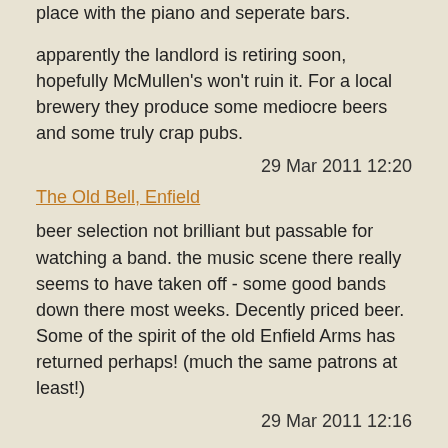The Wonder is what it lent it a uniquip. unique little place with the piano and seperate bars.
apparently the landlord is retiring soon, hopefully McMullen's won't ruin it. For a local brewery they produce some mediocre beers and some truly crap pubs.
29 Mar 2011 12:20
The Old Bell, Enfield
beer selection not brilliant but passable for watching a band. the music scene there really seems to have taken off - some good bands down there most weeks. Decently priced beer. Some of the spirit of the old Enfield Arms has returned perhaps! (much the same patrons at least!)
29 Mar 2011 12:16
The Wheatsheaf, Enfield
used to go in here for the music - was OK, beer decen...